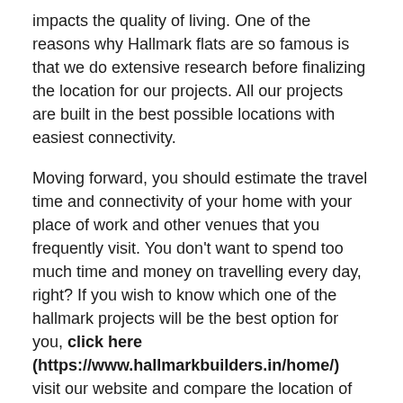impacts the quality of living. One of the reasons why Hallmark flats are so famous is that we do extensive research before finalizing the location for our projects. All our projects are built in the best possible locations with easiest connectivity.
Moving forward, you should estimate the travel time and connectivity of your home with your place of work and other venues that you frequently visit. You don't want to spend too much time and money on travelling every day, right? If you wish to know which one of the hallmark projects will be the best option for you, click here (https://www.hallmarkbuilders.in/home/) visit our website and compare the location of all the options that we have for you.
Another important factor is the availability of parks, creche, and sports facilities so that the kids of the family can have an optimum environment to grow in. Parks and